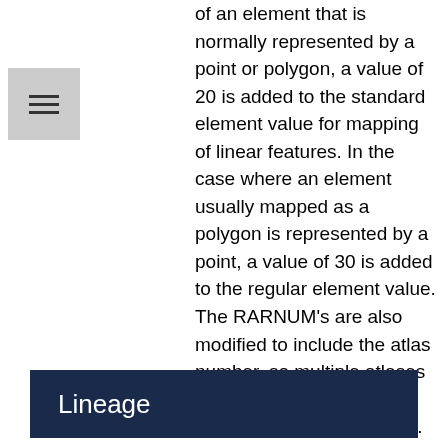of an element that is normally represented by a point or polygon, a value of 20 is added to the standard element value for mapping of linear features. In the case where an element usually mapped as a polygon is represented by a point, a value of 30 is added to the regular element value. The RARNUM's are also modified to include the atlas number, so multiple atlases can be combined and RARNUM's remain unique. RARNUM's are redefined on an element basis, so "resources at risk" groupings will contain only a single element. HUNUM's are also modified to include the atlas number.
Lineage